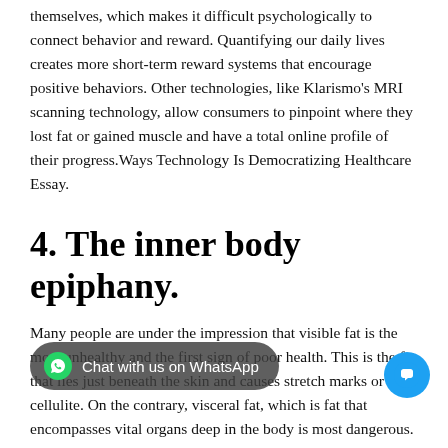themselves, which makes it difficult psychologically to connect behavior and reward. Quantifying our daily lives creates more short-term reward systems that encourage positive behaviors. Other technologies, like Klarismo's MRI scanning technology, allow consumers to pinpoint where they lost fat or gained muscle and have a total online profile of their progress.Ways Technology Is Democratizing Healthcare Essay.
4. The inner body epiphany.
Many people are under the impression that visible fat is the most unhealthy and the first sign of poor health. This is the fat that lies just beneath the skin and causes stretch marks or cellulite. On the contrary, visceral fat, which is fat that encompasses vital organs deep in the body is most dangerous. Technology now allows people to see their inner body health.
“Known to cause insulin resistance and contribute to risk for Type 2 Diabetes, this is the fat we need to be analyzing to stay healthy, says Foster.” Through MRI technology we can identify percentages of visceral fat, giving the consumer a picture of their